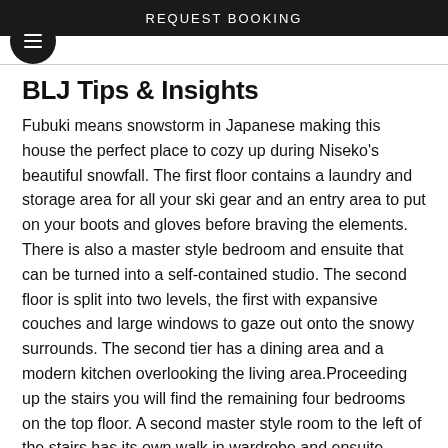REQUEST BOOKING
BLJ Tips & Insights
Fubuki means snowstorm in Japanese making this house the perfect place to cozy up during Niseko's beautiful snowfall. The first floor contains a laundry and storage area for all your ski gear and an entry area to put on your boots and gloves before braving the elements. There is also a master style bedroom and ensuite that can be turned into a self-contained studio. The second floor is split into two levels, the first with expansive couches and large windows to gaze out onto the snowy surrounds. The second tier has a dining area and a modern kitchen overlooking the living area.Proceeding up the stairs you will find the remaining four bedrooms on the top floor. A second master style room to the left of the stairs has its own walk in wardrobe and ensuite. There is also another bathroom